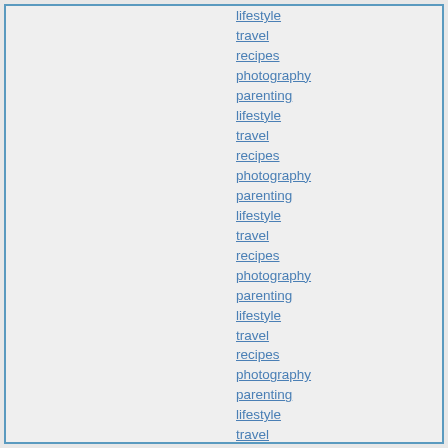lifestyle
travel
recipes
photography
parenting
lifestyle
travel
recipes
photography
parenting
lifestyle
travel
recipes
photography
parenting
lifestyle
travel
recipes
photography
parenting
lifestyle
travel
recipes
photography
parenting
lifestyle
travel
recipes
photography
parenting